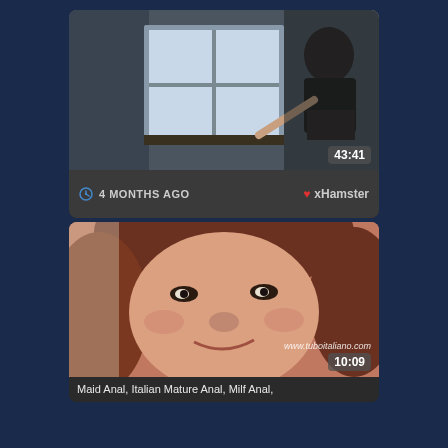[Figure (screenshot): Video thumbnail card 1: woman in dark lingerie near window, duration 43:41, posted 4 months ago on xHamster]
[Figure (screenshot): Video thumbnail card 2: close-up of a woman's face with red hair, duration 10:09, watermark www.tuboitaliano.com, title: Maid Anal, Italian Mature Anal, Milf Anal,]